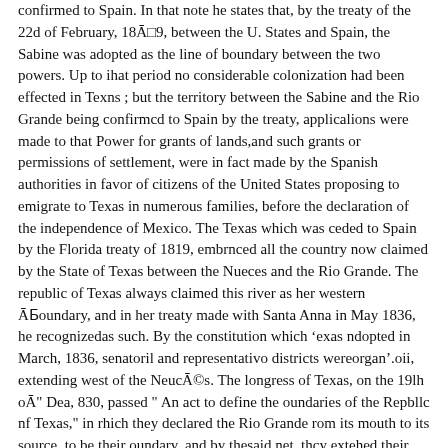confirmed to Spain. In that note he states that, by the treaty of the 22d of February, 18Ā□9, between the U. States and Spain, the Sabine was adopted as the line of boundary between the two powers. Up to ihat period no considerable colonization had been effected in Texns ; but the territory between the Sabine and the Rio Grande being confirmcd to Spain by the treaty, applicalions were made to that Power for grants of lands,and such grants or permissions of settlement, were in fact made by the Spanish authorities in favor of citizens of the United States proposing to emigrate to Texas in numerous families, before the declaration of the independence of Mexico. The Texas which was ceded to Spain by the Florida treaty of 1819, embrnced all the country now claimed by the State of Texas between the Nueces and the Rio Grande. The republic of Texas always claimed this river as her western Ā¶oundary, and in her treaty made with Santa Anna in May 1836, he recognizedas such. By the constitution which 'exas ndopted in March, 1836, senatoril and representativo districts wereorgan'.oii, extending west of the NeucĀ©s. The longress of Texas, on the 19lh oĀ" Dea, 830, passed " An act to define the oundaries of the Repbllc nf Texas," in rhich they declared the Rio Grande rom its mouth to its source, to be their oundary, and by thesaid net, thcy extehed their civil and political iurisdictions ' ver the country vp to that boundnry. āŌ )uring n period of more than nine years